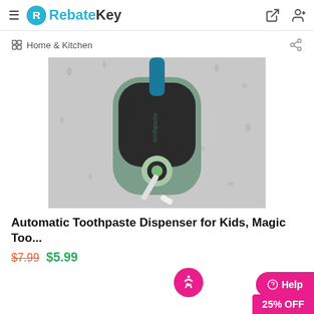RebateKey — Home & Kitchen
Home & Kitchen
[Figure (photo): Automatic toothpaste dispenser mounted on a wet glass surface with water droplets. Device has a rounded rectangular green/grey body with a circular dispensing nozzle at the bottom, and a teal toothbrush inserted at the top. A toothbrush is positioned at the nozzle receiving toothpaste.]
Automatic Toothpaste Dispenser for Kids, Magic Too...
$7.99  $5.99
25% OFF